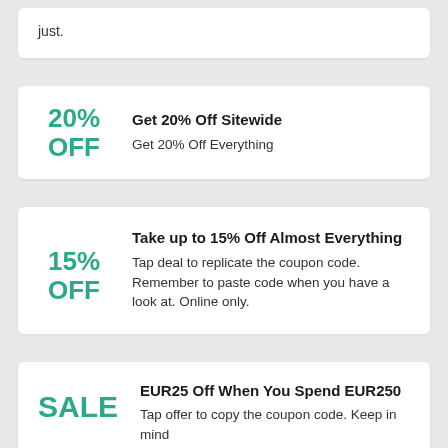just.
20% OFF
Get 20% Off Sitewide
Get 20% Off Everything
15% OFF
Take up to 15% Off Almost Everything
Tap deal to replicate the coupon code. Remember to paste code when you have a look at. Online only.
SALE
EUR25 Off When You Spend EUR250
Tap offer to copy the coupon code. Keep in mind